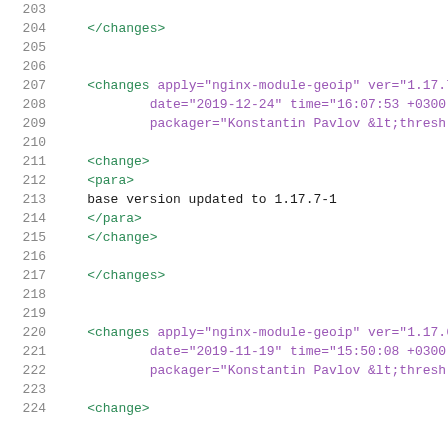Code listing showing XML changelog entries, lines 203-224
203 (empty)
204     </changes>
205 (empty)
206 (empty)
207     <changes apply="nginx-module-geoip" ver="1.17.7
208             date="2019-12-24" time="16:07:53 +0300
209             packager="Konstantin Pavlov &lt;thresh
210 (empty)
211     <change>
212     <para>
213     base version updated to 1.17.7-1
214     </para>
215     </change>
216 (empty)
217     </changes>
218 (empty)
219 (empty)
220     <changes apply="nginx-module-geoip" ver="1.17.6
221             date="2019-11-19" time="15:50:08 +0300
222             packager="Konstantin Pavlov &lt;thresh
223 (empty)
224     <change>